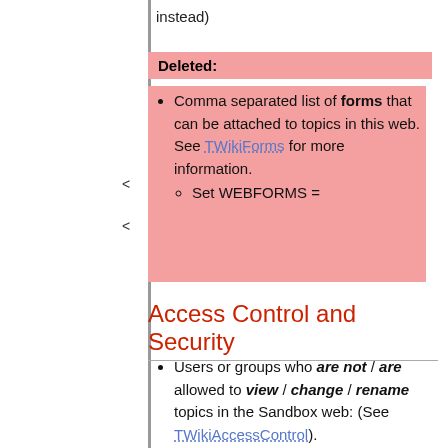instead)
Deleted:
Comma separated list of forms that can be attached to topics in this web. See TWikiForms for more information.
  Set WEBFORMS =
Access Control and Security
Users or groups who are not / are allowed to view / change / rename topics in the Sandbox web: (See TWikiAccessControl).
Line: 42 to 39
Web preferences that are not allowed to be overridden by sub-web, user or topic preferences:
  Set FINALPREFERENCES = NOSEARCHALL,